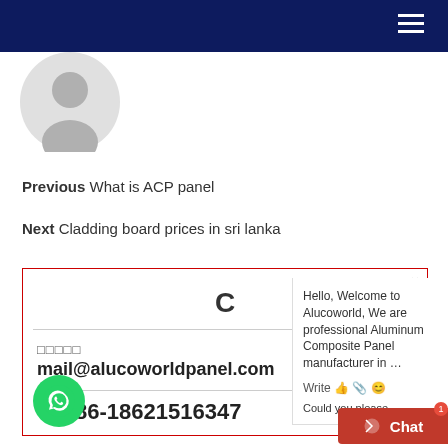Navigation menu header bar
[Figure (illustration): Gray user avatar/silhouette icon]
Previous  What is ACP panel
Next  Cladding board prices in sri lanka
C
□□□□□
mail@alucoworldpanel.com
86-18621516347